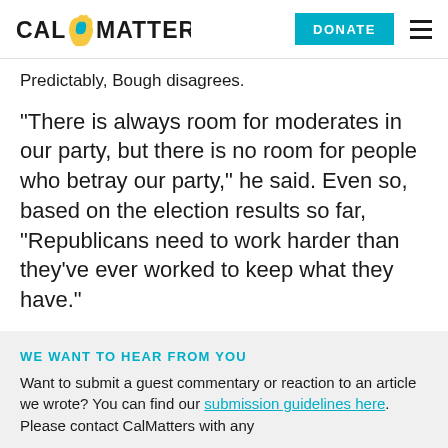CAL MATTERS | DONATE
Predictably, Bough disagrees.
“There is always room for moderates in our party, but there is no room for people who betray our party,” he said. Even so, based on the election results so far, “Republicans need to work harder than they’ve ever worked to keep what they have.”
WE WANT TO HEAR FROM YOU
Want to submit a guest commentary or reaction to an article we wrote? You can find our submission guidelines here. Please contact CalMatters with any